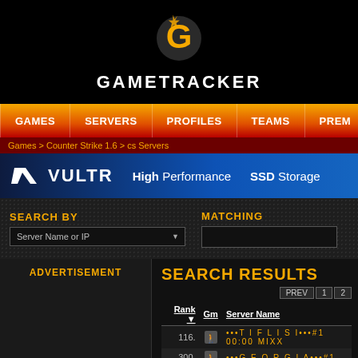[Figure (logo): GameTracker logo with G icon in orange/gold and white text GAMETRACKER]
GAMES | SERVERS | PROFILES | TEAMS | PREM
Games > Counter Strike 1.6 > cs Servers
[Figure (infographic): VULTR advertisement banner - High Performance SSD Storage]
SEARCH BY
MATCHING
Server Name or IP
ADVERTISEMENT
SEARCH RESULTS
| Rank | Gm | Server Name |
| --- | --- | --- |
| 116. |  | •••T I F L I S I•••#1 00:00 MIXX |
| 300. |  | •••G E O R G I A•••#1 |
| 709. |  | •••B A B I L O N I•••#1 00:00 M |